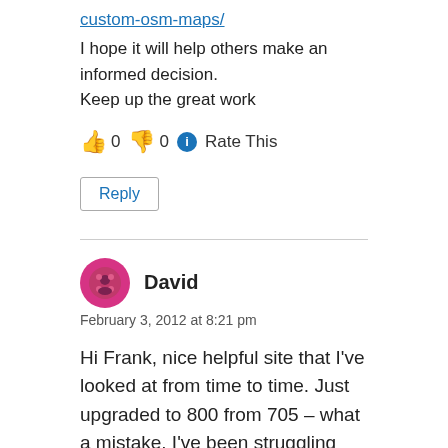custom-osm-maps/
I hope it will help others make an informed decision.
Keep up the great work
👍 0 👎 0 ℹ Rate This
Reply
David
February 3, 2012 at 8:21 pm
Hi Frank, nice helpful site that I've looked at from time to time. Just upgraded to 800 from 705 – what a mistake. I've been struggling ever